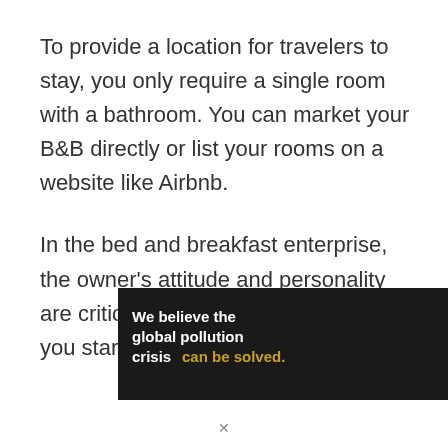To provide a location for travelers to stay, you only require a single room with a bathroom. You can market your B&B directly or list your rooms on a website like Airbnb.
In the bed and breakfast enterprise, the owner's attitude and personality are critical. Also, the location in which you start your business is crucial.
[Figure (infographic): Pure Earth advertisement banner. Left dark section: 'We believe the global pollution crisis can be solved.' Middle dark section: 'In a world where pollution doesn't stop at borders, we can all be part of the solution. JOIN US.' Right white section: Pure Earth logo with diamond/chevron shapes in gold/green.]